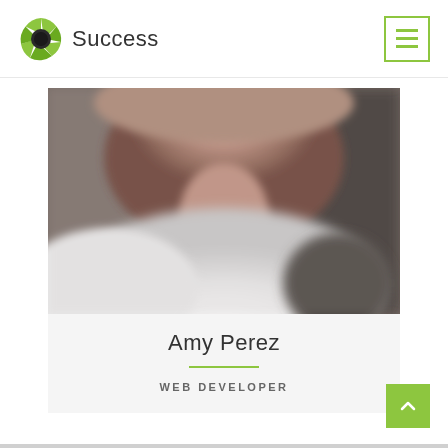Success
[Figure (photo): Profile photo of Amy Perez, a blurred close-up image of a person wearing a white shirt]
Amy Perez
WEB DEVELOPER